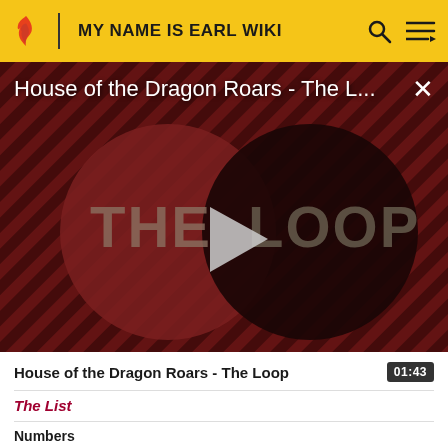MY NAME IS EARL WIKI
[Figure (screenshot): Video thumbnail for 'House of the Dragon Roars - The Loop' showing THE LOOP logo with a play button on a dark red diagonal striped background]
House of the Dragon Roars - The Loop
01:43
The List
Numbers
1 • 2 • 3 • 4 • 5 • 6 • 7 • 8 • 9 • 12 • 18 • 23 • 24 • 26 • 27 •